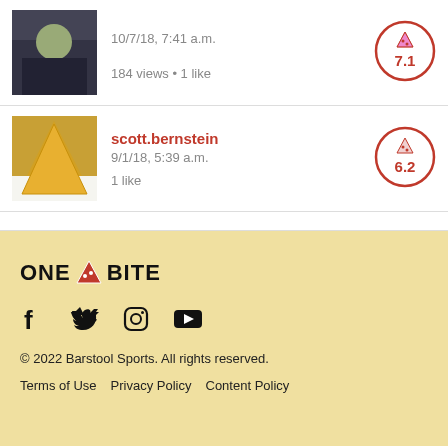[Figure (photo): Thumbnail photo of a person eating pizza]
10/7/18, 7:41 a.m.
184 views • 1 like
[Figure (infographic): Pizza score circle showing 7.1]
[Figure (photo): Thumbnail photo of a pizza slice]
scott.bernstein
9/1/18, 5:39 a.m.
1 like
[Figure (infographic): Pizza score circle showing 6.2]
[Figure (logo): One Bite logo with pizza slice icon]
[Figure (infographic): Social media icons: Facebook, Twitter, Instagram, YouTube]
© 2022 Barstool Sports. All rights reserved.
Terms of Use    Privacy Policy    Content Policy